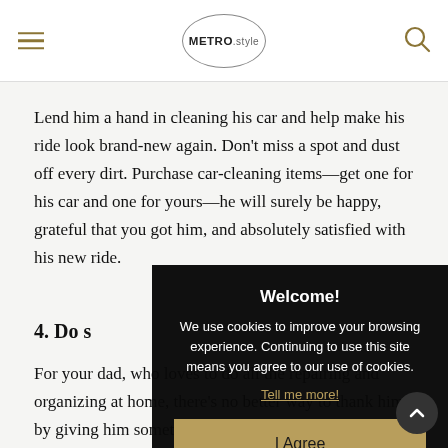METRO.style
Lend him a hand in cleaning his car and help make his ride look brand-new again. Don’t miss a spot and dust off every dirt. Purchase car-cleaning items—get one for his car and one for yours—he will surely be happy, grateful that you got him, and absolutely satisfied with his new ride.
4. Do s…
For your dad, who loves to do all the repairing and organizing at home, there’s no better way to thank him by giving him something he’ll love to have at home—a
Welcome!
We use cookies to improve your browsing experience. Continuing to use this site means you agree to our use of cookies.
Tell me more!
I Agree